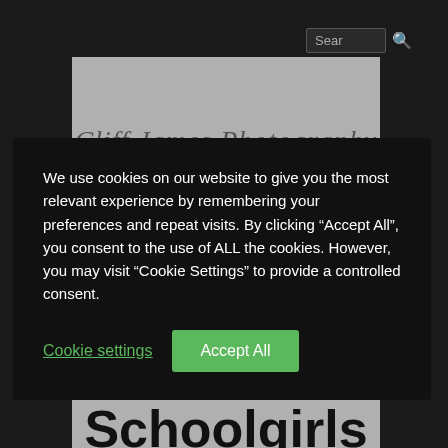[Figure (screenshot): Website header showing search bar input with magnifying glass icon in top right on dark background]
[Figure (logo): Cliff James Photography logo in cursive script on gray background panel]
We use cookies on our website to give you the most relevant experience by remembering your preferences and repeat visits. By clicking “Accept All”, you consent to the use of ALL the cookies. However, you may visit “Cookie Settings” to provide a controlled consent.
Cookie settings
Accept All
Tag:
Schoolgirls